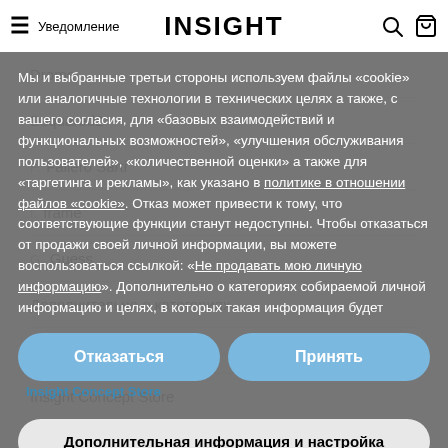≡ Уведомление   INSIGHT   🔍 🛍
Drome
Dsquared2
F. Faliero Sarti
frame
Guess
Дополнительно о категориях
Golden Goose
Insight Concept Store
Jil Sander
Kat Maconie
Мы и выбранные третьи стороны используем файлы «cookie» или аналогичные технологии в технических целях а также, с вашего согласия, для «базовых взаимодействий и функциональных возможностей», «улучшения обслуживания пользователей», «количественной оценки» а также для «таргетинга и рекламы», как указано в политике в отношении файлов «cookie». Отказ может привести к тому, что соответствующие функции станут недоступны. Чтобы отказаться от продажи своей личной информации, вы можете воспользоваться ссылкой: «Не продавать мою личную информацию». Дополнительно о категориях собираемой личной информацию и целях, в которых такая информация будет
Отказаться
Принять
Дополнительная информация и настройка